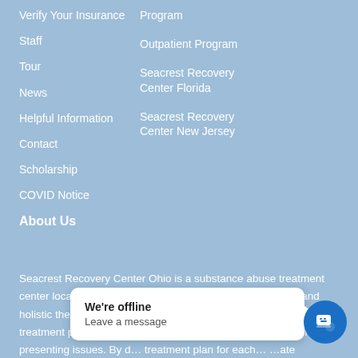Program
Verify Your Insurance
Outpatient Program
Staff
Seacrest Recovery Center Florida
Tour
Seacrest Recovery Center New Jersey
News
Helpful Information
Contact
Scholarship
COVID Notice
About Us
Seacrest Recovery Center Ohio is a substance abuse treatment center located in Columbus, OH. We utilize both traditional and holistic therapies and are comprehensive in our approach. Our treatment plans are customized for each individual based on their presenting issues. By d... treatment plan for each ... therapeutic environment that fosters physical, emotional, and
[Figure (screenshot): Chat popup widget showing 'We're offline - Leave a message' with a blue chat button icon in the bottom right corner.]